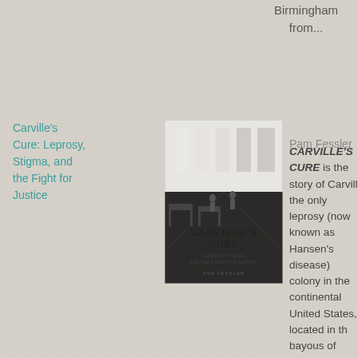Birmingham from...
Carville's Cure: Leprosy, Stigma, and the Fight for Justice
[Figure (photo): Book cover of Carville's Cure by Pam Fessler, black and white photo of a hospital corridor]
Pam Fessler
CARVILLE'S CURE is the story of Carville the only leprosy (now known as Hansen's disease) colony in the continental United States, located in the bayous of Louisiana. Following a surprising family connection to Carville, Fessler unearthed the lost world of the patients, nurses, doctors, and researchers at Carville who...